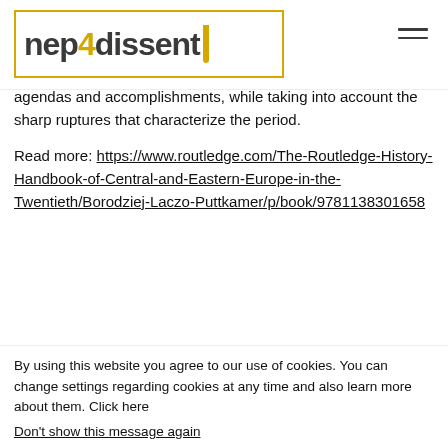nep4dissent
agendas and accomplishments, while taking into account the sharp ruptures that characterize the period.
Read more: https://www.routledge.com/The-Routledge-History-Handbook-of-Central-and-Eastern-Europe-in-the-Twentieth/Borodziej-Laczo-Puttkamer/p/book/9781138301658
By using this website you agree to our use of cookies. You can change settings regarding cookies at any time and also learn more about them. Click here
Don't show this message again